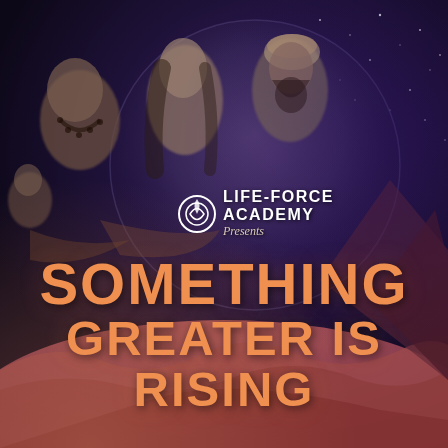[Figure (photo): Promotional image for Life-Force Academy event. Background shows a dark starry night sky in deep blue-purple tones with a large full moon circle. In the foreground/left are three spiritual figures: an older man with beads/necklace, a woman with long dark hair, and a bearded man wearing a turban. Bottom right shows rocky mountainous terrain in warm reddish-pink tones.]
LIFE-FORCE ACADEMY Presents
SOMETHING GREATER IS RISING